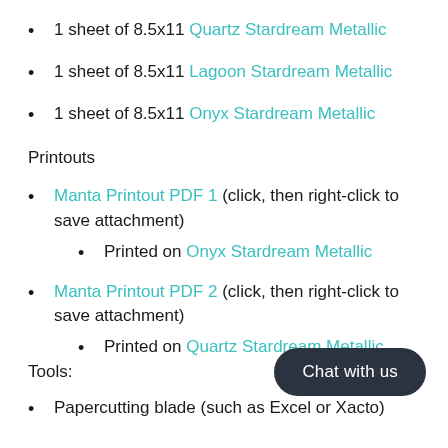1 sheet of 8.5x11 Quartz Stardream Metallic
1 sheet of 8.5x11 Lagoon Stardream Metallic
1 sheet of 8.5x11 Onyx Stardream Metallic
Printouts
Manta Printout PDF 1 (click, then right-click to save attachment)
Printed on Onyx Stardream Metallic
Manta Printout PDF 2 (click, then right-click to save attachment)
Printed on Quartz Stardream Metallic
Tools:
Papercutting blade (such as Excel or Xacto)